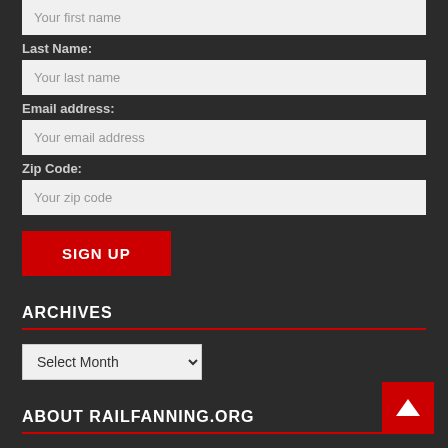Last Name:
[Figure (screenshot): Text input field with placeholder 'Your last name']
Email address:
[Figure (screenshot): Text input field with placeholder 'Your email address']
Zip Code:
[Figure (screenshot): Text input field with placeholder 'Your zip code']
[Figure (screenshot): Red 'SIGN UP' button]
ARCHIVES
[Figure (screenshot): Dropdown select box with 'Select Month' option]
ABOUT RAILFANNING.ORG
Railfanning.org is published by The DeFeo Groupe, LLC. All original content (c) 2002-2022 The DeFeo Groupe, LLC, and may not be republished without express written consent.
BEFORE YOU PLAGIARIZE